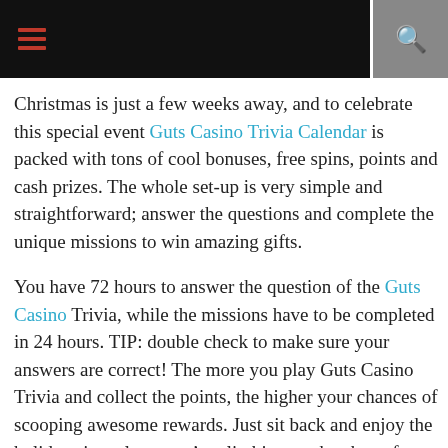[hamburger menu icon] [search icon]
Christmas is just a few weeks away, and to celebrate this special event Guts Casino Trivia Calendar is packed with tons of cool bonuses, free spins, points and cash prizes. The whole set-up is very simple and straightforward; answer the questions and complete the unique missions to win amazing gifts.
You have 72 hours to answer the question of the Guts Casino Trivia, while the missions have to be completed in 24 hours. TIP: double check to make sure your answers are correct! The more you play Guts Casino Trivia and collect the points, the higher your chances of scooping awesome rewards. Just sit back and enjoy the holidays in style as you’re climbing up the charts for the big prizes. Don’t forget to log into your account and check your